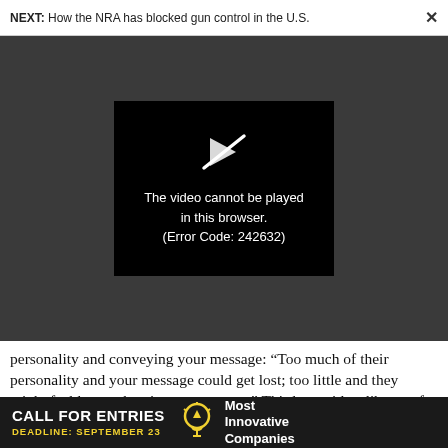NEXT: How the NRA has blocked gun control in the U.S.  ×
[Figure (screenshot): Video player showing error: 'The video cannot be played in this browser. (Error Code: 242632)' with a broken play button icon on black background, set within a dark gray area.]
personality and conveying your message: “Too much of their personality and your message could get lost; too little and they might feel less authentic to consumers.” Third, provide a library of short narrative formats that can act as jumping-off points
[Figure (infographic): Advertisement banner: 'CALL FOR ENTRIES' with 'DEADLINE: SEPTEMBER 23' in yellow, lightbulb icon, and 'Most Innovative Companies' text on dark background.]